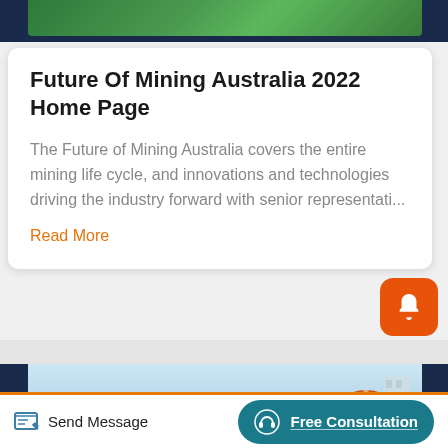[Figure (photo): Top strip showing green mining/outdoor scene image cropped at top of page]
Future Of Mining Australia 2022 Home Page
The Future of Mining Australia covers the entire mining life cycle, and innovations and technologies driving the industry forward with senior representati...
Read More
[Figure (photo): Second card showing a light blue sky with an orange mining wheel/reel component and a building in background]
Send Message
Free Consultation